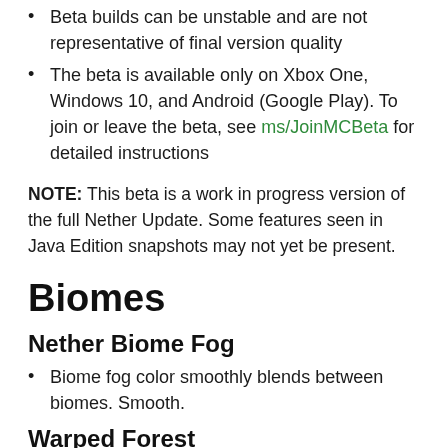Beta builds can be unstable and are not representative of final version quality
The beta is available only on Xbox One, Windows 10, and Android (Google Play). To join or leave the beta, see ms/JoinMCBeta for detailed instructions
NOTE: This beta is a work in progress version of the full Nether Update. Some features seen in Java Edition snapshots may not yet be present.
Biomes
Nether Biome Fog
Biome fog color smoothly blends between biomes. Smooth.
Warped Forest